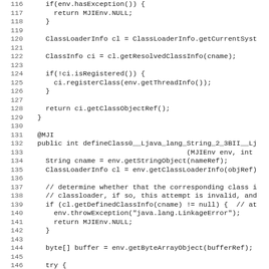Source code listing, lines 116–147, Java code for class loading and defineClass method